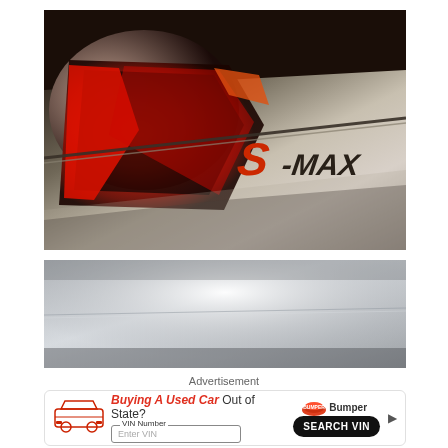[Figure (photo): Close-up photo of the rear of a Ford S-MAX showing the red tail light and the S-MAX badge on a silver body panel]
[Figure (photo): Partial view of a silver car hood/body panel, blurred/teaser shot]
Advertisement
[Figure (infographic): Advertisement banner for Bumper: 'Buying A Used Car Out of State?' with VIN Number input and SEARCH VIN button]